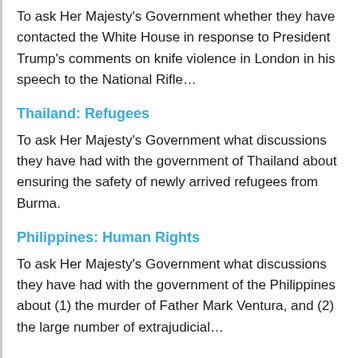To ask Her Majesty's Government whether they have contacted the White House in response to President Trump's comments on knife violence in London in his speech to the National Rifle…
Thailand: Refugees
To ask Her Majesty's Government what discussions they have had with the government of Thailand about ensuring the safety of newly arrived refugees from Burma.
Philippines: Human Rights
To ask Her Majesty's Government what discussions they have had with the government of the Philippines about (1) the murder of Father Mark Ventura, and (2) the large number of extrajudicial…